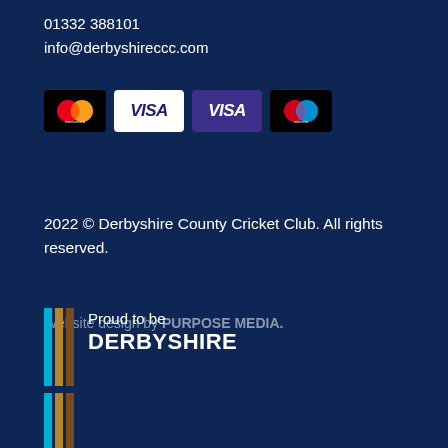01332 388101
info@derbyshireccc.com
[Figure (logo): Payment method logos: Mastercard, Visa (white), Visa (purple), Maestro]
2022 © Derbyshire County Cricket Club. All rights reserved.
Website design by PURPOSE MEDIA.
[Figure (logo): Proud to be DERBYSHIRE logo with blue, gold, and brown vertical stripes]